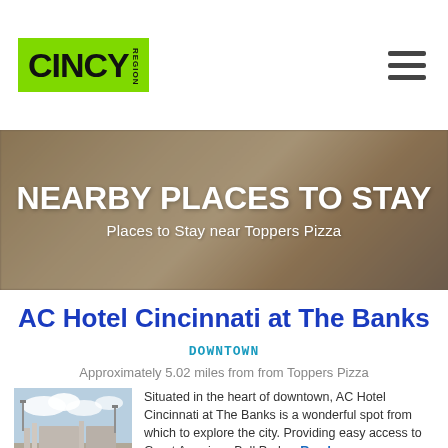[Figure (logo): CINCY Region logo on green background]
NEARBY PLACES TO STAY
Places to Stay near Toppers Pizza
AC Hotel Cincinnati at The Banks
DOWNTOWN
Approximately 5.02 miles from from Toppers Pizza
[Figure (photo): Exterior photo of AC Hotel Cincinnati at The Banks with blue sky and stadium visible]
Situated in the heart of downtown, AC Hotel Cincinnati at The Banks is a wonderful spot from which to explore the city. Providing easy access to Great American Ball Park… Read more